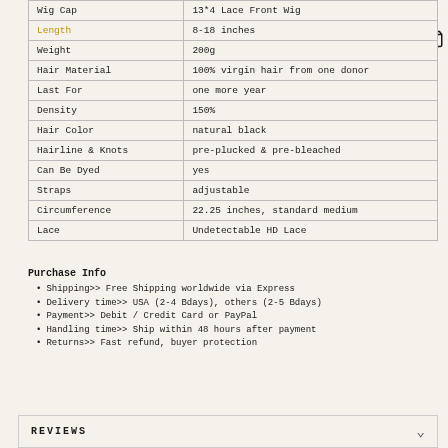| Attribute | Value |
| --- | --- |
| Wig Cap | 13*4 Lace Front Wig |
| Length | 8-18 inches |
| Weight | 200g |
| Hair Material | 100% virgin hair from one donor |
| Last For | one more year |
| Density | 150% |
| Hair Color | natural black |
| Hairline & Knots | pre-plucked & pre-bleached |
| Can Be Dyed | yes |
| Straps | adjustable |
| Circumference | 22.25 inches, standard medium |
| Lace | Undetectable HD Lace |
Purchase Info
Shipping>> Free Shipping worldwide via Express
Delivery time>> USA (2-4 Bdays), others (2-5 Bdays)
Payment>> Debit / Credit Card or PayPal
Handling time>> Ship within 48 hours after payment
Returns>> Fast refund, buyer protection
REVIEWS